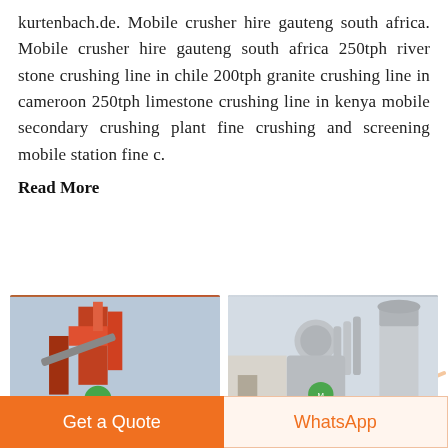kurtenbach.de. Mobile crusher hire gauteng south africa. Mobile crusher hire gauteng south africa 250tph river stone crushing line in chile 200tph granite crushing line in cameroon 250tph limestone crushing line in kenya mobile secondary crushing plant fine crushing and screening mobile station fine c.
Read More
[Figure (photo): Industrial stone crushing plant with red/orange machinery and equipment]
[Figure (photo): Industrial grinding/milling plant with grey metal structures and silos]
Get a Quote
WhatsApp